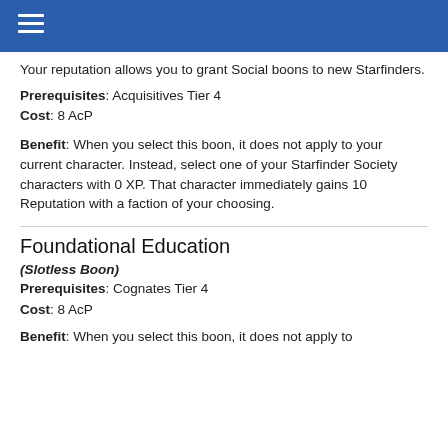Organized Play Foundation
Your reputation allows you to grant Social boons to new Starfinders.
Prerequisites: Acquisitives Tier 4
Cost: 8 AcP
Benefit: When you select this boon, it does not apply to your current character. Instead, select one of your Starfinder Society characters with 0 XP. That character immediately gains 10 Reputation with a faction of your choosing.
Foundational Education
(Slotless Boon)
Prerequisites: Cognates Tier 4
Cost: 8 AcP
Benefit: When you select this boon, it does not apply to